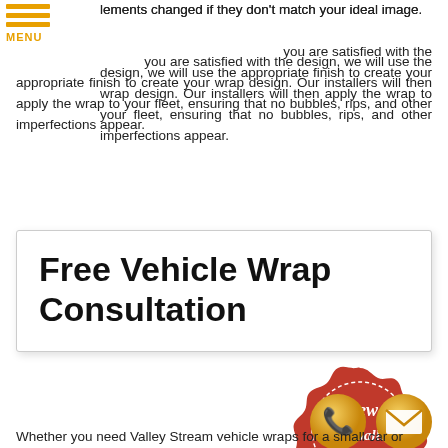lements changed if they don't match your ideal image.
you are satisfied with the design, we will use the appropriate finish to create your wrap design. Our installers will then apply the wrap to your fleet, ensuring that no bubbles, rips, and other imperfections appear.
Free Vehicle Wrap Consultation
[Figure (illustration): Red wax seal badge with scalloped edge and dashed inner border. Text reads 'View Sign Gallery' in white italic script. Gold ribbon banner at bottom reads 'CLICK HERE' in bold uppercase letters.]
[Figure (illustration): Two circular gold icon buttons: a phone handset icon and an envelope/mail icon.]
Whether you need Valley Stream vehicle wraps for a small car or